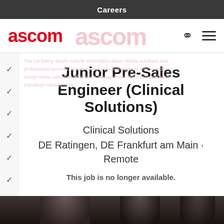Careers
[Figure (logo): Ascom logo in red, with ghost/watermark ascom text in pink behind it, search icon and hamburger menu icon on the right]
Junior Pre-Sales Engineer (Clinical Solutions)
Clinical Solutions
DE Ratingen, DE Frankfurt am Main · Remote
This job is no longer available.
[Figure (photo): Dark photo strip at the bottom showing partial view of people]